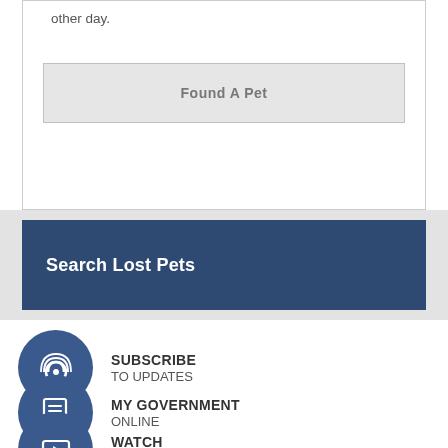other day.
Found A Pet
Search Lost Pets
SUBSCRIBE TO UPDATES
MY GOVERNMENT ONLINE
WATCH LIVE MEETINGS